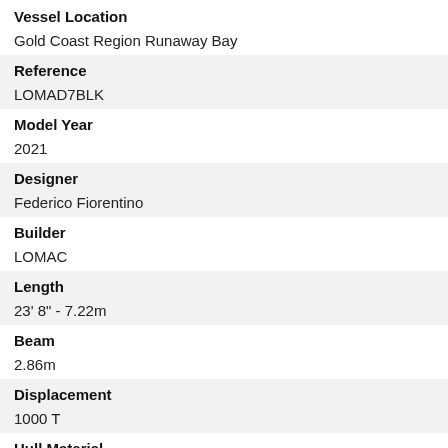Vessel Location
Gold Coast Region Runaway Bay
Reference
LOMAD7BLK
Model Year
2021
Designer
Federico Fiorentino
Builder
LOMAC
Length
23' 8" - 7.22m
Beam
2.86m
Displacement
1000 T
Hull Material
Fibreglass/GRP